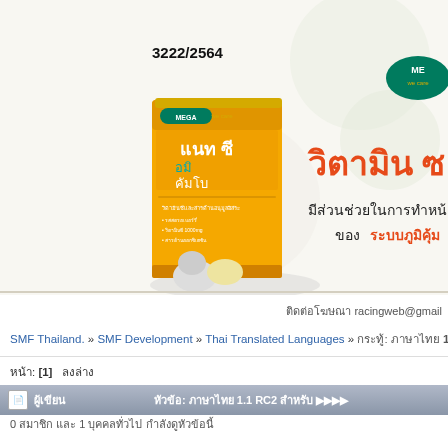[Figure (photo): Advertisement banner for MEGA We care vitamin product (Antioxidant supplement) with Thai text. Shows orange product box with Thai text 'แนท ซี อมิ คัมโบ', vitamin large orange Thai heading text, and MEGA logo. Reference number 3222/2564 shown top left.]
ติดต่อโฆษณา racingweb@gmail
SMF Thailand. » SMF Development » Thai Translated Languages » กระทู้: ภาษาไทย 1.1 RC2 สำหรับ...
หน้า: [1]   ลงล่าง
| ผู้เขียน | หัวข้อ: ภาษาไทย 1.1 RC2 สำหรับ... |
| --- | --- |
| 0 สมาชิก และ 1 บุคคลทั่วไป กำลังดูหัวข้อนี้ |  |
0 สมาชิก และ 1 บุคคลทั่วไป กำลังดูหัวข้อนี้